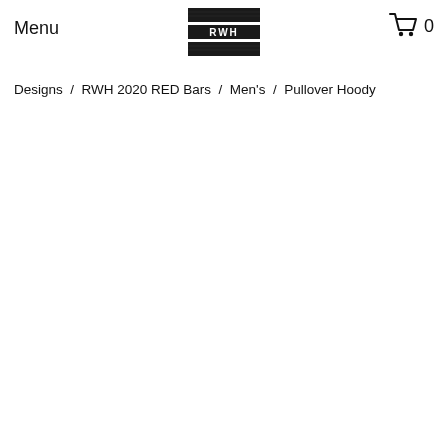Menu
[Figure (logo): RWH logo with three horizontal dark bars and RWH text in the center bar]
[Figure (other): Shopping cart icon with number 0]
Designs  /  RWH 2020 RED Bars  /  Men's  /  Pullover Hoody